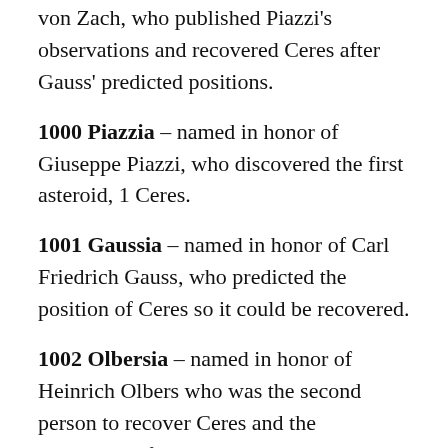von Zach, who published Piazzi's observations and recovered Ceres after Gauss' predicted positions.
1000 Piazzia – named in honor of Giuseppe Piazzi, who discovered the first asteroid, 1 Ceres.
1001 Gaussia – named in honor of Carl Friedrich Gauss, who predicted the position of Ceres so it could be recovered.
1002 Olbersia – named in honor of Heinrich Olbers who was the second person to recover Ceres and the discoverer of the second asteroid, 2 Pallas (and 4 Vesta, by the way).